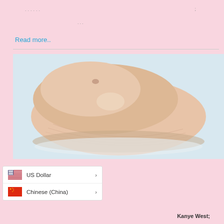......
;
...
Read more..
[Figure (photo): A silicone breast form or prosthesis, photographed on a light surface. The object is skin-toned, dome-shaped, and made of soft silicone material with textured surface details.]
US Dollar >
Chinese (China) >
Kanye West;